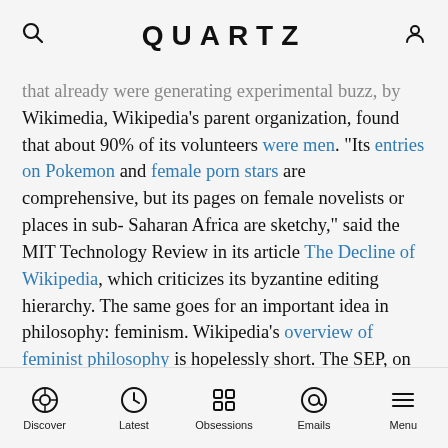QUARTZ
that already were generating experimental buzz, by Wikimedia, Wikipedia's parent organization, found that about 90% of its volunteers were men. "Its entries on Pokemon and female porn stars are comprehensive, but its pages on female novelists or places in sub-Saharan Africa are sketchy," said the MIT Technology Review in its article The Decline of Wikipedia, which criticizes its byzantine editing hierarchy. The same goes for an important idea in philosophy: feminism. Wikipedia's overview of feminist philosophy is hopelessly short. The SEP, on the other hand, is home to dozens of meticulously researched entries on the topic.
So the SEP model works, and it has 1,500 fact-checked, peer-reviewed entries to prove it.
Discover | Latest | Obsessions | Emails | Menu